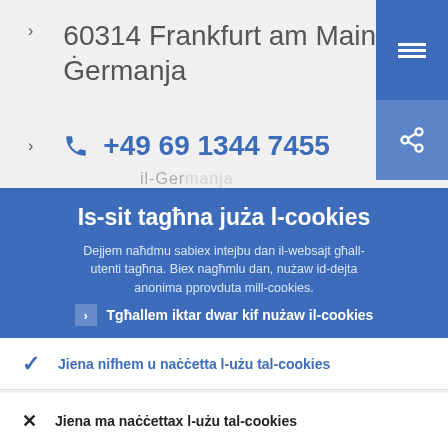60314 Frankfurt am Main, il-Ġermanja
+49 69 1344 7455
Is-sit tagħna juża l-cookies
Dejjem naħdmu sabiex intejbu dan il-websajt għall-utenti tagħna. Biex nagħmlu dan, nużaw id-dejta anonima pprovduta mill-cookies.
Tgħallem iktar dwar kif nużaw il-cookies
Jiena nifhem u naċċetta l-użu tal-cookies
Jiena ma naċċettax l-użu tal-cookies